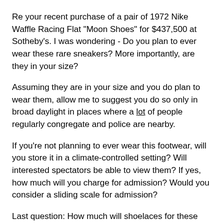Re your recent purchase of a pair of 1972 Nike Waffle Racing Flat "Moon Shoes" for $437,500 at Sotheby's. I was wondering - Do you plan to ever wear these rare sneakers? More importantly, are they in your size?
Assuming they are in your size and you do plan to wear them, allow me to suggest you do so only in broad daylight in places where a lot of people regularly congregate and police are nearby.
If you're not planning to ever wear this footwear, will you store it in a climate-controlled setting? Will interested spectators be able to view them? If yes, how much will you charge for admission? Would you consider a sliding scale for admission?
Last question: How much will shoelaces for these bad boys set you back?
Sincerely (and bewildered),